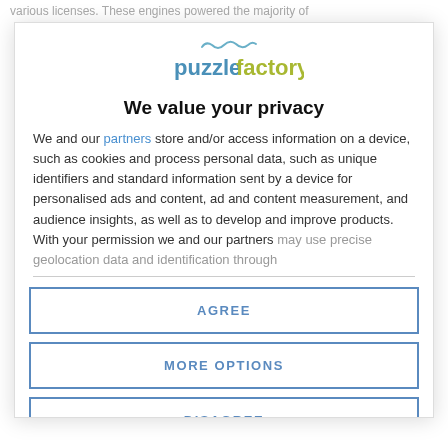various licenses. These engines powered the majority of
[Figure (logo): Puzzle Factory logo with stylized text and wave graphic above]
We value your privacy
We and our partners store and/or access information on a device, such as cookies and process personal data, such as unique identifiers and standard information sent by a device for personalised ads and content, ad and content measurement, and audience insights, as well as to develop and improve products. With your permission we and our partners may use precise geolocation data and identification through
AGREE
MORE OPTIONS
DISAGREE
...